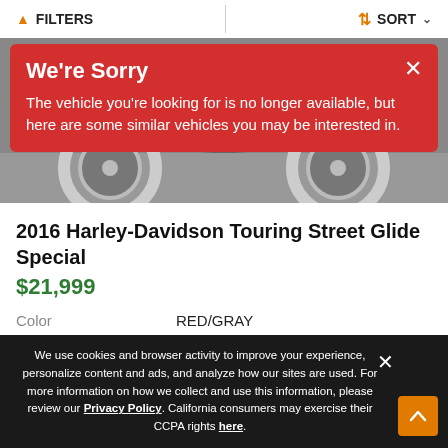FILTERS   SORT
We're Sorry

The vehicle you're looking for is no longer available, but here are some similar vehicles you may be interested in.
[Figure (photo): Partial view of a motorcycle (Harley-Davidson) showing wheels, exhaust and chrome details, photographed in a garage setting.]
2016 Harley-Davidson Touring Street Glide Special
$21,999
| Color | RED/GRAY |
| Miles | 12,512 |
We use cookies and browser activity to improve your experience, personalize content and ads, and analyze how our sites are used. For more information on how we collect and use this information, please review our Privacy Policy. California consumers may exercise their CCPA rights here.